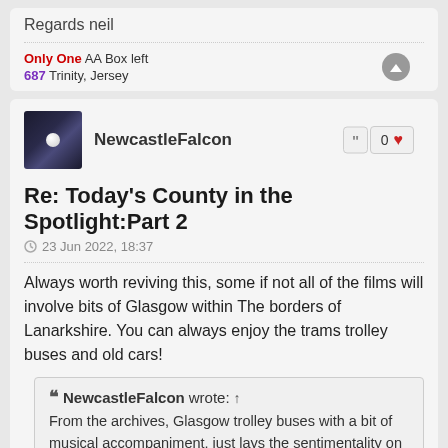Regards neil
Only One AA Box left
687 Trinity, Jersey
NewcastleFalcon
Re: Today's County in the Spotlight:Part 2
23 Jun 2022, 18:37
Always worth reviving this, some if not all of the films will involve bits of Glasgow within The borders of Lanarkshire. You can always enjoy the trams trolley buses and old cars!
NewcastleFalcon wrote: ↑
From the archives, Glasgow trolley buses with a bit of musical accompaniment, just lays the sentimentality on in spades 😯😁